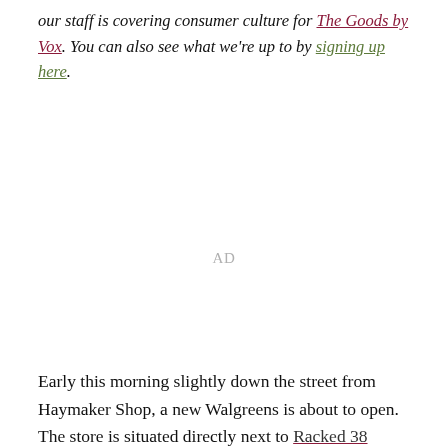our staff is covering consumer culture for The Goods by Vox. You can also see what we're up to by signing up here.
[Figure (other): Advertisement placeholder area with 'AD' label in light gray]
Early this morning slightly down the street from Haymaker Shop, a new Walgreens is about to open. The store is situated directly next to Racked 38 favorite, Room Service Chicago and is billed as a new Walgreens Wellness Experience